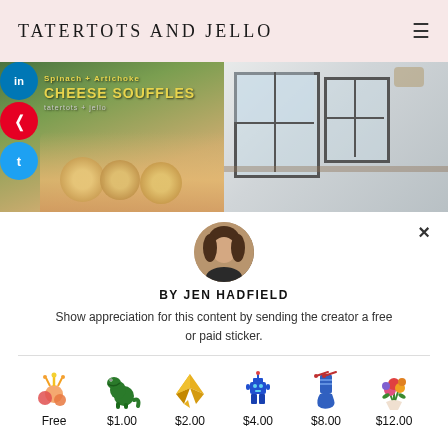TATERTOTS AND JELLO
[Figure (screenshot): Two side-by-side images: left shows cheese souffles with social share buttons overlay, right shows interior room with windows]
[Figure (photo): Circular avatar photo of Jen Hadfield]
BY JEN HADFIELD
Show appreciation for this content by sending the creator a free or paid sticker.
Free  $1.00  $2.00  $4.00  $8.00  $12.00